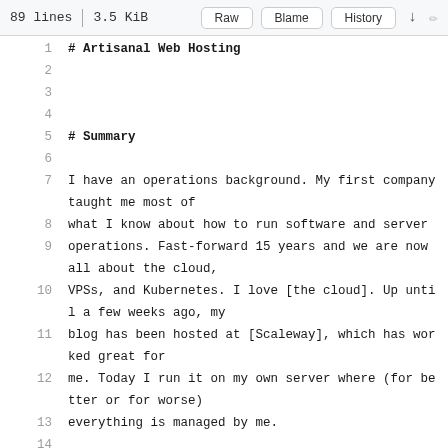89 lines | 3.5 KiB   Raw   Blame   History
1  # Artisanal Web Hosting
2
3
4
5  # Summary
6
7  I have an operations background. My first company taught me most of
8  what I know about how to run software and server
9  operations. Fast-forward 15 years and we are now all about the cloud,
10 VPSs, and Kubernetes. I love [the cloud]. Up until a few weeks ago, my
11 blog has been hosted at [Scaleway], which has worked great for
12 me. Today I run it on my own server where (for better or for worse)
13 everything is managed by me.
14
15